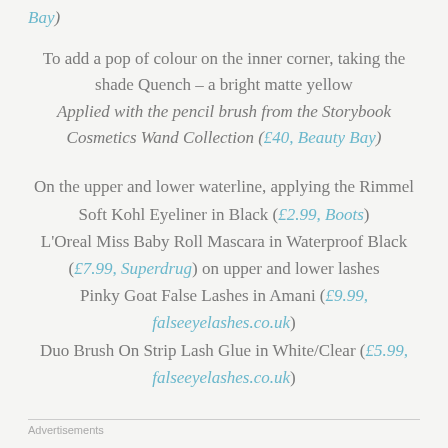Bay)
To add a pop of colour on the inner corner, taking the shade Quench – a bright matte yellow Applied with the pencil brush from the Storybook Cosmetics Wand Collection (£40, Beauty Bay)
On the upper and lower waterline, applying the Rimmel Soft Kohl Eyeliner in Black (£2.99, Boots) L'Oreal Miss Baby Roll Mascara in Waterproof Black (£7.99, Superdrug) on upper and lower lashes Pinky Goat False Lashes in Amani (£9.99, falseeyelashes.co.uk) Duo Brush On Strip Lash Glue in White/Clear (£5.99, falseeyelashes.co.uk)
Advertisements